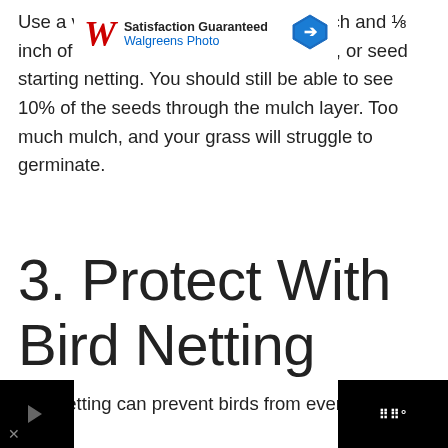Use a very light layer, between 1/16 inch and ⅛ inch of compost, topsoil, grass cuttings, or seed starting netting. You should still be able to see 10% of the seeds through the mulch layer. Too much mulch, and your grass will struggle to germinate.
3. Protect With Bird Netting
Bird netting can prevent birds from even reaching